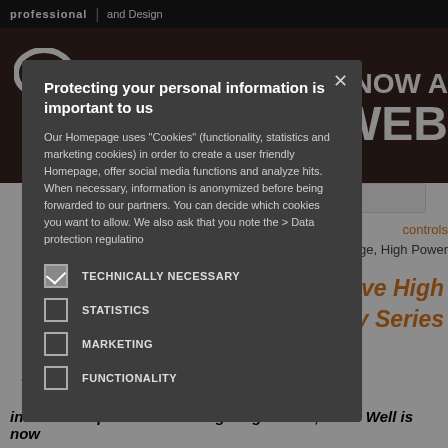professional | and Design BY LUGER RESEARCH
[Figure (screenshot): Background webpage with orange/dark branding, showing 'NOW A' and 'WEB' text in white on dark reddish background, with search bar, orange navigation links 'controls', text 'tage, High Power', and orange italic headline about 'ffective High' and 'pply Series']
Protecting your personal information is important to us
Our Homepage uses "Cookies" (functionality, statistics and marketing cookies) in order to create a user friendly Homepage, offer social media functions and analyze hits. When necessary, information is anonymized before being forwarded to our partners. You can decide which cookies you want to allow. We also ask that you note the > Data protection regulatino
TECHNICALLY NECESSARY (checked)
STATISTICS
MARKETING
FUNCTIONALITY
intense competition in LED lighting market, Mean Well is now